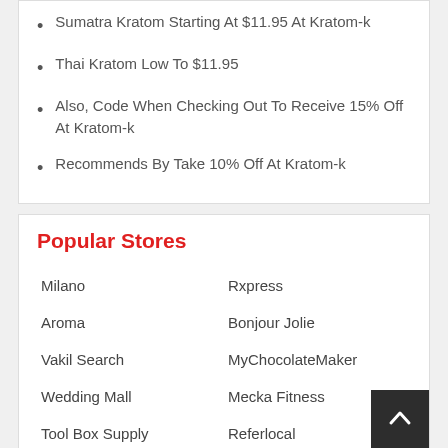Sumatra Kratom Starting At $11.95 At Kratom-k
Thai Kratom Low To $11.95
Also, Code When Checking Out To Receive 15% Off At Kratom-k
Recommends By Take 10% Off At Kratom-k
Popular Stores
Milano
Rxpress
Aroma
Bonjour Jolie
Vakil Search
MyChocolateMaker
Wedding Mall
Mecka Fitness
Tool Box Supply
Referlocal